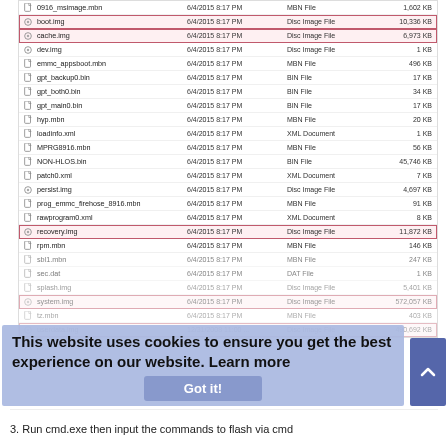[Figure (screenshot): Windows Explorer file listing showing firmware files (MBN, Disc Image, BIN, XML types) dated 6/4/2015 8:17 PM. Several files are highlighted with red boxes: boot.img, cache.img, recovery.img, system.img, userdata.img. A cookie consent banner overlays the bottom portion.]
3. Run cmd.exe then input the commands to flash via cmd